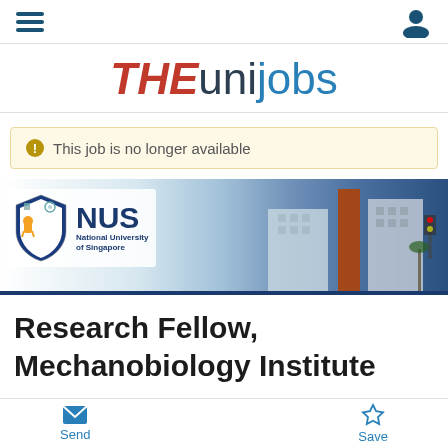[Figure (logo): THEunijobs logo with THE in red italic bold and unijobs in blue]
This job is no longer available
[Figure (logo): National University of Singapore (NUS) banner with logo and campus building photo]
Research Fellow, Mechanobiology Institute